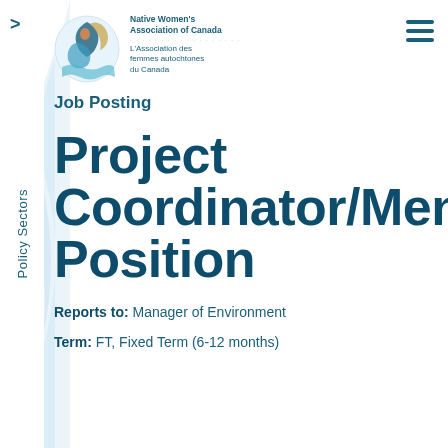[Figure (logo): Native Women's Association of Canada logo with circular Indigenous art and bilingual organization name]
Job Posting
Project Coordinator/Mentor Position
Reports to: Manager of Environment
Term: FT, Fixed Term (6-12 months)